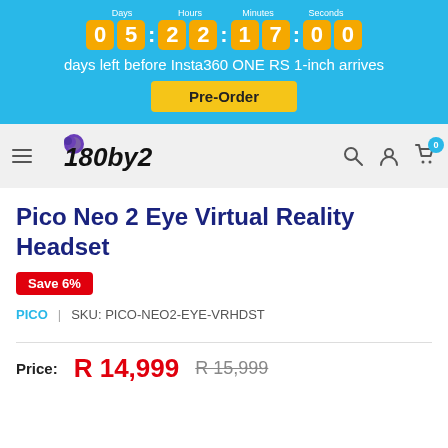[Figure (screenshot): Countdown timer banner with days 05, hours 22, minutes 17, seconds 00 on orange digit blocks against a blue background]
days left before Insta360 ONE RS 1-inch arrives
Pre-Order
[Figure (logo): 180by2 logo with purple dot accent]
Pico Neo 2 Eye Virtual Reality Headset
Save 6%
PICO  |  SKU: PICO-NEO2-EYE-VRHDST
Price:  R 14,999  R 15,999